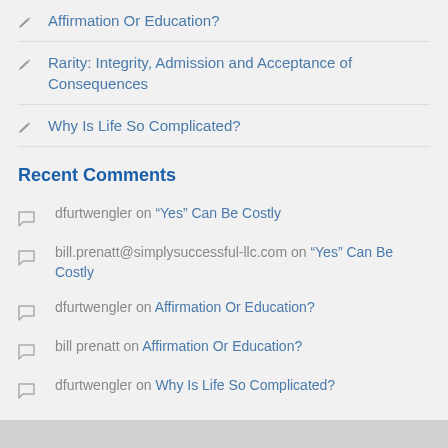Affirmation Or Education?
Rarity: Integrity, Admission and Acceptance of Consequences
Why Is Life So Complicated?
Recent Comments
dfurtwengler on “Yes” Can Be Costly
bill.prenatt@simplysuccessful-llc.com on “Yes” Can Be Costly
dfurtwengler on Affirmation Or Education?
bill prenatt on Affirmation Or Education?
dfurtwengler on Why Is Life So Complicated?